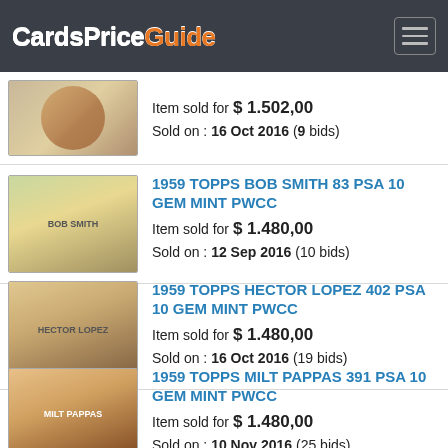CardsPriceGuide
Item sold for $ 1.502,00
Sold on : 16 Oct 2016 (9 bids)
1959 TOPPS BOB SMITH 83 PSA 10 GEM MINT PWCC
Item sold for $ 1.480,00
Sold on : 12 Sep 2016 (10 bids)
1959 TOPPS HECTOR LOPEZ 402 PSA 10 GEM MINT PWCC
Item sold for $ 1.480,00
Sold on : 16 Oct 2016 (19 bids)
1959 TOPPS MILT PAPPAS 391 PSA 10 GEM MINT PWCC
Item sold for $ 1.480,00
Sold on : 10 Nov 2016 (25 bids)